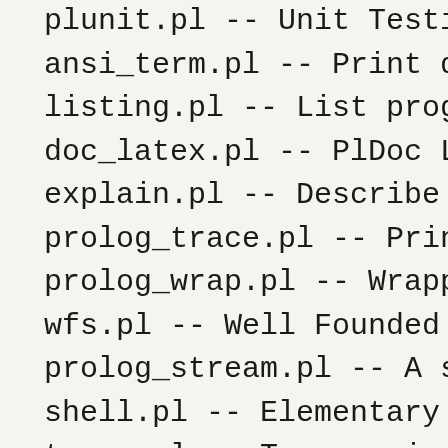plunit.pl -- Unit Testing
ansi_term.pl -- Print decor
listing.pl -- List programs
doc_latex.pl -- PlDoc LaT
explain.pl -- Describe Prol
prolog_trace.pl -- Print acc
prolog_wrap.pl -- Wrappin
wfs.pl -- Well Founded Se
prolog_stream.pl -- A strea
shell.pl -- Elementary shel
terms.pl -- Term manipula
when.pl -- Conditional con
mqi.pl
prolog_codewalk.pl -- Pro
help.pl -- Text based manu
varnumbers.pl -- Utilities s
hashtable.pl -- Hash tables
fastrw.pl -- Fast reading ar
isub.pl -- isub: a string sim
files.pl
yaml.pl -- Process YAML
protobufs.pl -- Google's Pr
codesio.pl -- I/O on Lists o
coinduction.pl -- Co-Logic
portray_text.pl -- Portray t